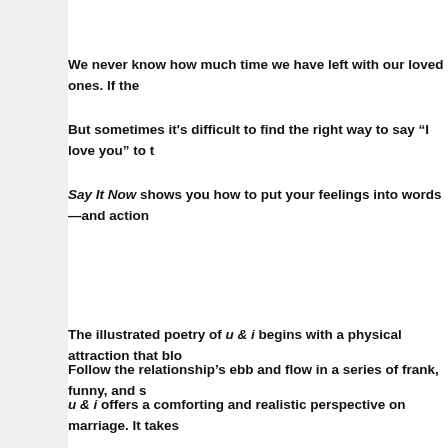We never know how much time we have left with our loved ones. If the
But sometimes it's difficult to find the right way to say “I love you” to t
Say It Now shows you how to put your feelings into words—and action
The illustrated poetry of u & i begins with a physical attraction that blo
Follow the relationship’s ebb and flow in a series of frank, funny, and s
u & i offers a comforting and realistic perspective on marriage. It takes